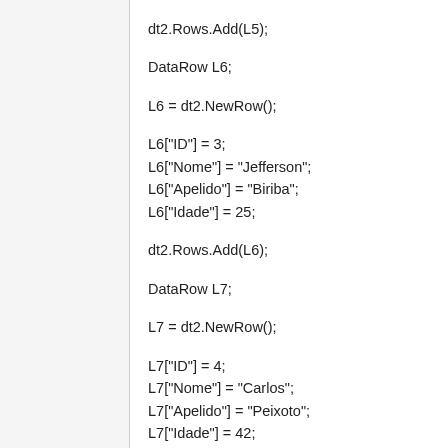dt2.Rows.Add(L5);
DataRow L6;
L6 = dt2.NewRow();
L6["ID"] = 3;
L6["Nome"] = "Jefferson";
L6["Apelido"] = "Biriba";
L6["Idade"] = 25;
dt2.Rows.Add(L6);
DataRow L7;
L7 = dt2.NewRow();
L7["ID"] = 4;
L7["Nome"] = "Carlos";
L7["Apelido"] = "Peixoto";
L7["Idade"] = 42;